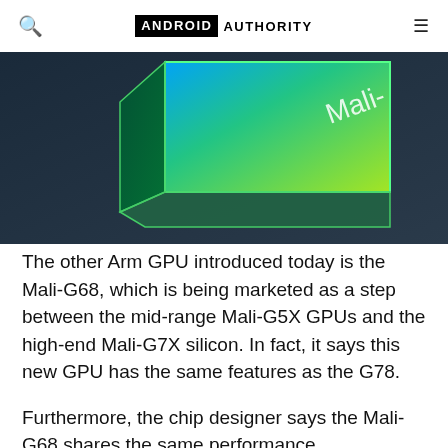ANDROID AUTHORITY
[Figure (photo): Arm Mali GPU chip with green-to-teal gradient color scheme on a dark background, showing the chip label 'Mali-']
The other Arm GPU introduced today is the Mali-G68, which is being marketed as a step between the mid-range Mali-G5X GPUs and the high-end Mali-G7X silicon. In fact, it says this new GPU has the same features as the G78.
Furthermore, the chip designer says the Mali-G68 shares the same performance improvements as the G78 (i.e. 15% better performance density, 10% better efficiency, 15% better machine learning)